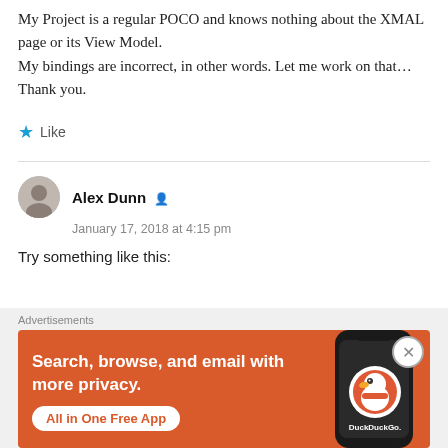My Project is a regular POCO and knows nothing about the XMAL page or its View Model.
My bindings are incorrect, in other words. Let me work on that…
Thank you.
Like
Alex Dunn
January 17, 2018 at 4:15 pm
Try something like this:
[Figure (illustration): DuckDuckGo advertisement banner with orange background showing 'Search, browse, and email with more privacy. All in One Free App' text and a phone illustration with DuckDuckGo logo]